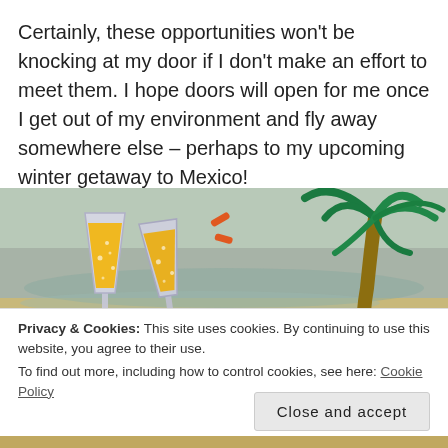Certainly, these opportunities won't be knocking at my door if I don't make an effort to meet them. I hope doors will open for me once I get out of my environment and fly away somewhere else – perhaps to my upcoming winter getaway to Mexico!
[Figure (illustration): Beach scene with two champagne glasses clinking (cartoon style, yellow liquid, orange sparkles) on the left, and a cartoon palm tree on the right, with a sandy beach and ocean in the background.]
Privacy & Cookies: This site uses cookies. By continuing to use this website, you agree to their use.
To find out more, including how to control cookies, see here: Cookie Policy
Close and accept